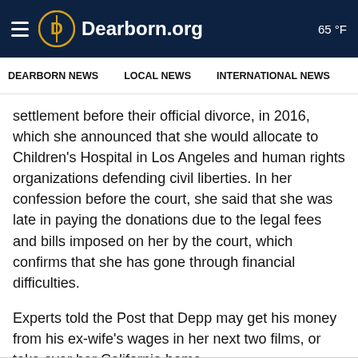Dearborn.org | 65 °F
DEARBORN NEWS  LOCAL NEWS  INTERNATIONAL NEWS
settlement before their official divorce, in 2016, which she announced that she would allocate to Children's Hospital in Los Angeles and human rights organizations defending civil liberties. In her confession before the court, she said that she was late in paying the donations due to the legal fees and bills imposed on her by the court, which confirms that she has gone through financial difficulties.
Experts told the Post that Depp may get his money from his ex-wife's wages in her next two films, or take over her California home.